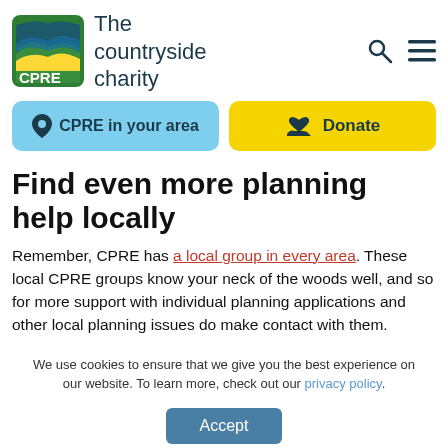[Figure (logo): CPRE - The countryside charity logo with green/yellow landscape graphic and CPRE text]
The countryside charity
[Figure (illustration): Search icon (magnifying glass) and hamburger menu icon]
CPRE in your area
Donate
Find even more planning help locally
Remember, CPRE has a local group in every area. These local CPRE groups know your neck of the woods well, and so for more support with individual planning applications and other local planning issues do make contact with them.
We use cookies to ensure that we give you the best experience on our website. To learn more, check out our privacy policy.
Accept